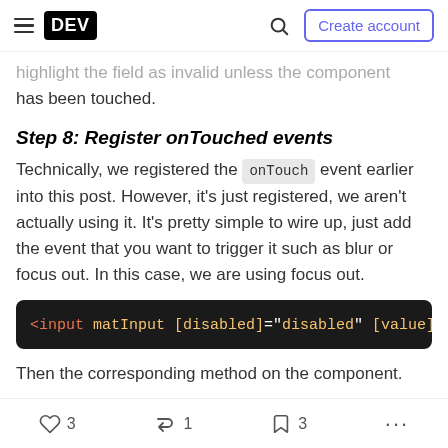DEV — Create account
highlight the field as invalid unless the component has been touched.
Step 8: Register onTouched events
Technically, we registered the onTouch event earlier into this post. However, it's just registered, we aren't actually using it. It's pretty simple to wire up, just add the event that you want to trigger it such as blur or focus out. In this case, we are using focus out.
[Figure (screenshot): Code block showing: <input matInput [disabled]="disabled" [value]="]
Then the corresponding method on the component.
3 likes  1 unicorn  3 bookmarks  more options